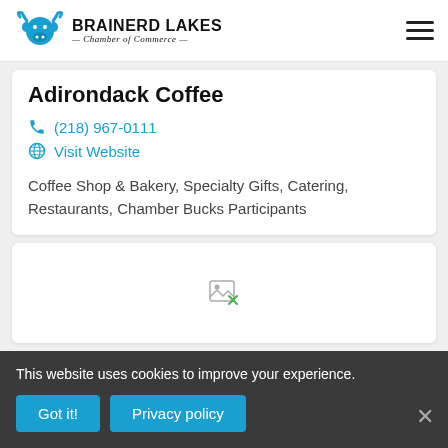Brainerd Lakes Chamber of Commerce
Adirondack Coffee
(218) 967-0111
Visit Website
Coffee Shop & Bakery, Specialty Gifts, Catering, Restaurants, Chamber Bucks Participants
[Figure (other): Placeholder broken image icon in a white card]
This website uses cookies to improve your experience.
Got it!
Privacy policy